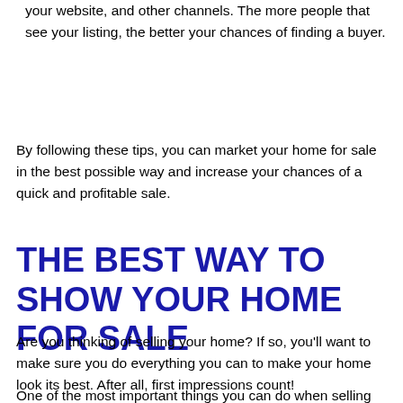your website, and other channels. The more people that see your listing, the better your chances of finding a buyer.
By following these tips, you can market your home for sale in the best possible way and increase your chances of a quick and profitable sale.
THE BEST WAY TO SHOW YOUR HOME FOR SALE
Are you thinking of selling your home? If so, you'll want to make sure you do everything you can to make your home look its best. After all, first impressions count!
One of the most important things you can do when selling your